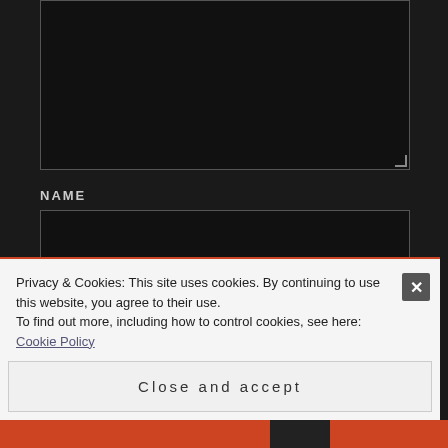[Figure (screenshot): Dark-themed web form with a textarea (top), NAME label and text input field, EMAIL label and text input field]
NAME
EMAIL
Privacy & Cookies: This site uses cookies. By continuing to use this website, you agree to their use.
To find out more, including how to control cookies, see here: Cookie Policy
Close and accept